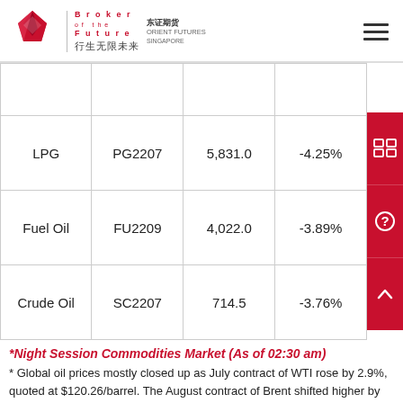Orient Futures Singapore — Broker of the Future 行生无限未来
|  |  |  |  |
| --- | --- | --- | --- |
|  |  |  |  |
| LPG | PG2207 | 5,831.0 | -4.25% |
| Fuel Oil | FU2209 | 4,022.0 | -3.89% |
| Crude Oil | SC2207 | 714.5 | -3.76% |
*Night Session Commodities Market (As of 02:30 am)
* Global oil prices mostly closed up as July contract of WTI rose by 2.9%, quoted at $120.26/barrel. The August contract of Brent shifted higher by 2.95%, closed at $121.08/barrel. Crude oil settled with gains for 6 weeks.